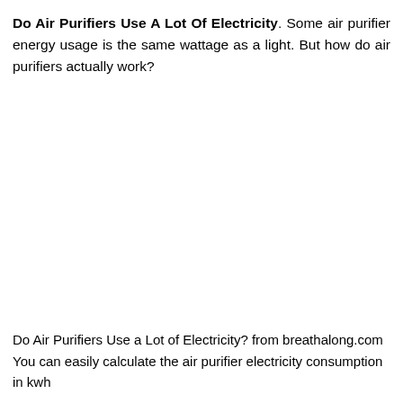Do Air Purifiers Use A Lot Of Electricity. Some air purifier energy usage is the same wattage as a light. But how do air purifiers actually work?
Do Air Purifiers Use a Lot of Electricity? from breathalong.com
You can easily calculate the air purifier electricity consumption in kwh